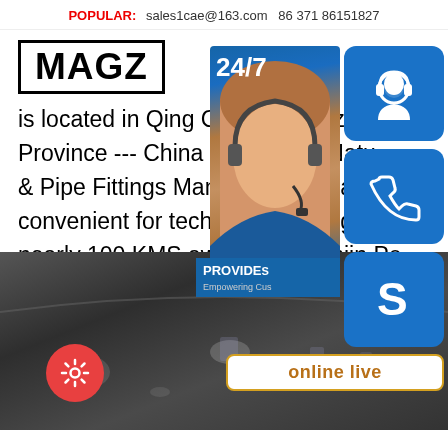POPULAR: sales1cae@163.com  86 371 86151827
MAGZ
is located in Qing County,Cangzhou C Province --- China Petroleum /Natu & Pipe Fittings Manufacturing Base. convenient for technical exchange & nearly 100 KMS away from Tianjin Po
[Figure (photo): Industrial floor or metal surface with light reflections, dark grey tones]
[Figure (infographic): Right-side widget panel with 24/7 support photo, three blue icon buttons (headset, phone, Skype), a PROVIDE banner, and online live button]